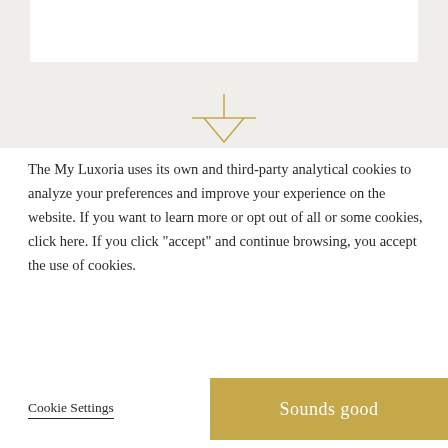[Figure (logo): Gold geometric cross/downward arrow logo mark in outline style, golden/amber color on light gray background]
The My Luxoria uses its own and third-party analytical cookies to analyze your preferences and improve your experience on the website. If you want to learn more or opt out of all or some cookies, click here. If you click "accept" and continue browsing, you accept the use of cookies.
Cookie Settings
Sounds good